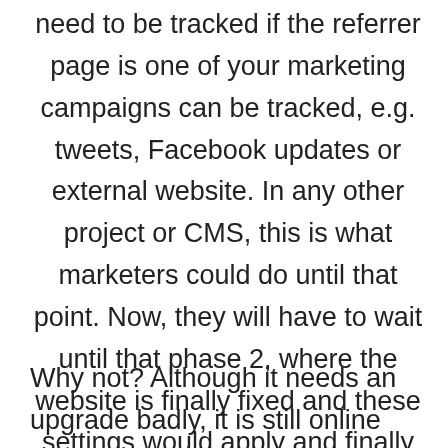need to be tracked if the referrer page is one of your marketing campaigns can be tracked, e.g. tweets, Facebook updates or external website. In any other project or CMS, this is what marketers could do until that point. Now, they will have to wait until that phase 2, where the website is finally fixed and these settings would apply and finally make sense. Unless, they could apply it already on the current website!
Why not? Although it needs an upgrade badly, it is still online waiting for its death sentence and is certainly not worthless. It can still tell you a